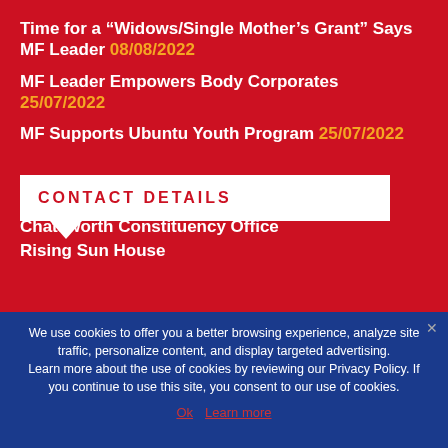Time for a “Widows/Single Mother’s Grant” Says MF Leader 08/08/2022
MF Leader Empowers Body Corporates 25/07/2022
MF Supports Ubuntu Youth Program 25/07/2022
CONTACT DETAILS
Durban
Chatsworth Constituency Office
Rising Sun House
We use cookies to offer you a better browsing experience, analyze site traffic, personalize content, and display targeted advertising. Learn more about the use of cookies by reviewing our Privacy Policy. If you continue to use this site, you consent to our use of cookies.
Ok  Learn more